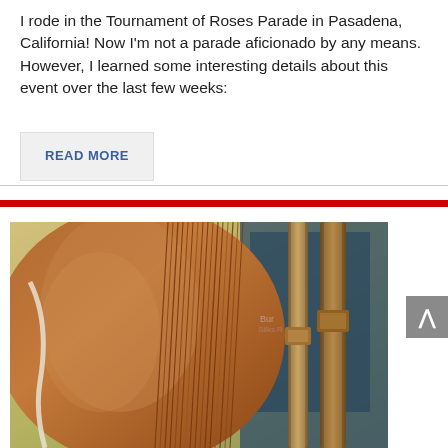I rode in the Tournament of Roses Parade in Pasadena, California! Now I'm not a parade aficionado by any means. However, I learned some interesting details about this event over the last few weeks:
READ MORE
[Figure (photo): Close-up photo of a horse's neck and mane with leather bridle straps visible, taken at what appears to be a parade or equestrian event.]